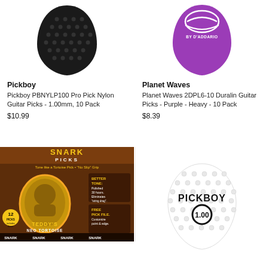[Figure (photo): Pickboy black nylon guitar pick with dotted texture surface]
Pickboy
Pickboy PBNYLP100 Pro Pick Nylon Guitar Picks - 1.00mm, 10 Pack
$10.99
[Figure (photo): Planet Waves purple Duralin guitar pick with D'Addario branding and swirl logo]
Planet Waves
Planet Waves 2DPL6-10 Duralin Guitar Picks - Purple - Heavy - 10 Pack
$8.39
[Figure (photo): Snark Picks packaging showing Teddy's Neo Tortoise Picks with 12 picks, tone like a tortoise pick, no slip grip, better tone polished 30 hours, free pick file]
[Figure (photo): Pickboy white guitar pick with dotted grip texture and Pickboy 1.00 logo in black]